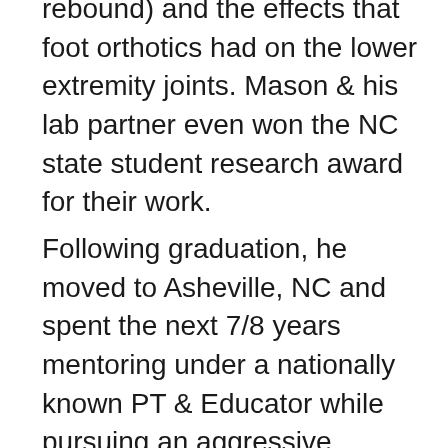rebound) and the effects that foot orthotics had on the lower extremity joints. Mason & his lab partner even won the NC state student research award for their work.
Following graduation, he moved to Asheville, NC and spent the next 7/8 years mentoring under a nationally known PT & Educator while pursuing an aggressive Continuing Education path. Mason's joy in helping people has led him to practice with an eclectic manual therapy (hands-